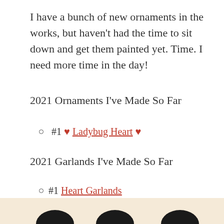I have a bunch of new ornaments in the works, but haven't had the time to sit down and get them painted yet. Time. I need more time in the day!
2021 Ornaments I've Made So Far
#1 ♥ Ladybug Heart ♥
2021 Garlands I've Made So Far
#1 Heart Garlands
#2 Bunny Garlands
[Figure (photo): Partial view of a photo at the bottom of the page showing ornaments or garlands on a light beige/cream background]